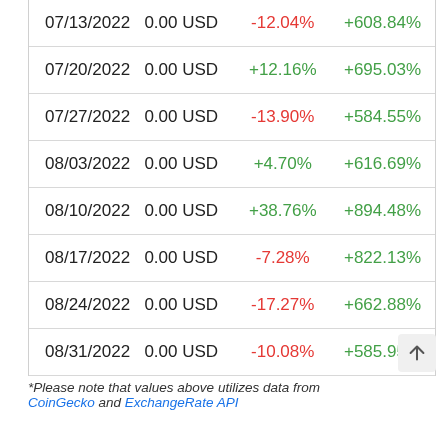| Date | Amount | Weekly Change | Total Return |
| --- | --- | --- | --- |
| 07/13/2022 | 0.00 USD | -12.04% | +608.84% |
| 07/20/2022 | 0.00 USD | +12.16% | +695.03% |
| 07/27/2022 | 0.00 USD | -13.90% | +584.55% |
| 08/03/2022 | 0.00 USD | +4.70% | +616.69% |
| 08/10/2022 | 0.00 USD | +38.76% | +894.48% |
| 08/17/2022 | 0.00 USD | -7.28% | +822.13% |
| 08/24/2022 | 0.00 USD | -17.27% | +662.88% |
| 08/31/2022 | 0.00 USD | -10.08% | +585.95% |
*Please note that values above utilizes data from CoinGecko and ExchangeRate API